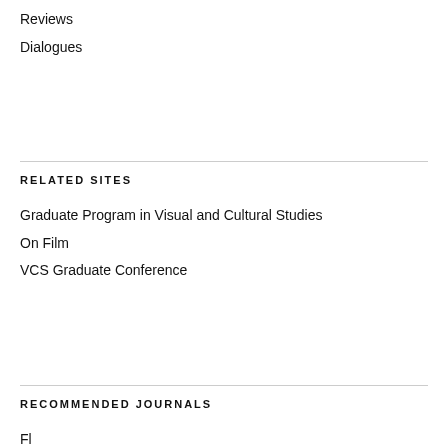Reviews
Dialogues
RELATED SITES
Graduate Program in Visual and Cultural Studies
On Film
VCS Graduate Conference
RECOMMENDED JOURNALS
Flow